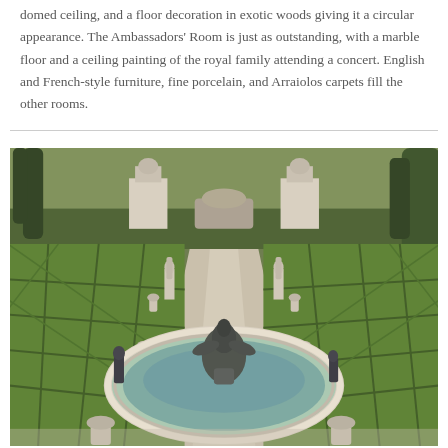domed ceiling, and a floor decoration in exotic woods giving it a circular appearance. The Ambassadors' Room is just as outstanding, with a marble floor and a ceiling painting of the royal family attending a concert. English and French-style furniture, fine porcelain, and Arraiolos carpets fill the other rooms.
[Figure (photo): Aerial view of a formal garden with ornate topiary hedges arranged in geometric patterns, a circular fountain with bronze statues in the foreground, stone pedestals with statues, and cypress trees in the background.]